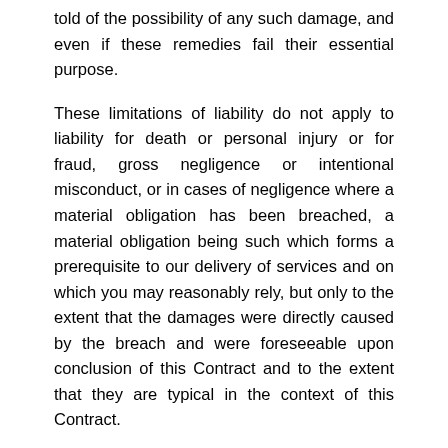told of the possibility of any such damage, and even if these remedies fail their essential purpose.
These limitations of liability do not apply to liability for death or personal injury or for fraud, gross negligence or intentional misconduct, or in cases of negligence where a material obligation has been breached, a material obligation being such which forms a prerequisite to our delivery of services and on which you may reasonably rely, but only to the extent that the damages were directly caused by the breach and were foreseeable upon conclusion of this Contract and to the extent that they are typical in the context of this Contract.
5. Termination
We can each end this Contract, but some rights and obligations survive.